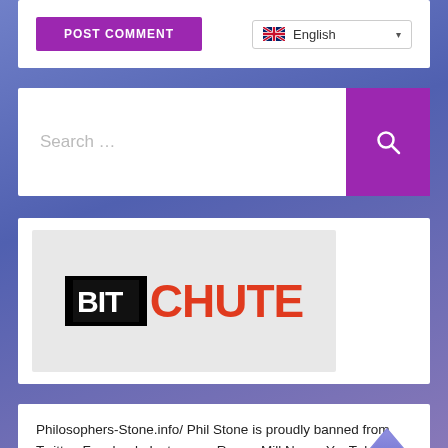[Figure (screenshot): POST COMMENT button (purple) and English language selector with UK flag]
[Figure (screenshot): Search bar with purple search button and magnifying glass icon]
[Figure (logo): BitChute logo: BIT in black box and CHUTE in red on grey background]
Philosophers-Stone.info/ Phil Stone is proudly banned from Twitter, Facebook, Instagram, Rumor Mill News, YouTube, Daily Motion, Vimeo and others.